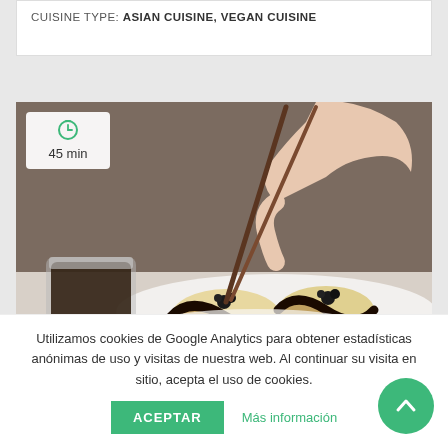CUISINE TYPE: ASIAN CUISINE, VEGAN CUISINE
[Figure (photo): Hand using chopsticks to pick up roasted eggplant slices topped with black sesame, served on a white plate with a glass of dark sauce on the left. Timer badge shows 45 min.]
Utilizamos cookies de Google Analytics para obtener estadísticas anónimas de uso y visitas de nuestra web. Al continuar su visita en sitio, acepta el uso de cookies.
ACEPTAR
Más información